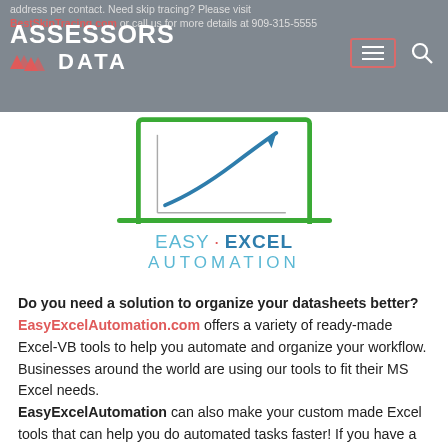address per contact. Need skip tracing? Please visit BestSkipTracing.com or call us for more details at 909-315-5555
[Figure (logo): Assessors Data logo with triangles icon and navigation hamburger/search icons on grey header bar]
[Figure (logo): Easy Excel Automation logo: laptop icon with upward arrow, text EASY · EXCEL AUTOMATION in blue/teal]
Do you need a solution to organize your datasheets better? EasyExcelAutomation.com offers a variety of ready-made Excel-VB tools to help you automate and organize your workflow. Businesses around the world are using our tools to fit their MS Excel needs. EasyExcelAutomation can also make your custom made Excel tools that can help you do automated tasks faster! If you have a wish list of your own Excel software, maybe